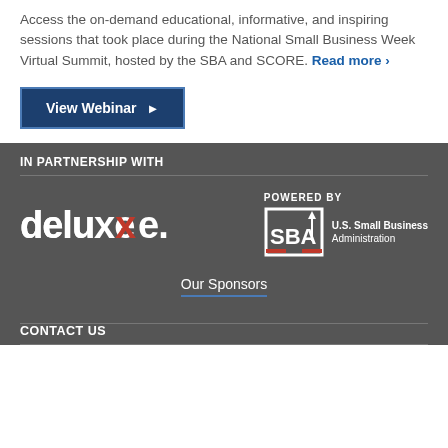Access the on-demand educational, informative, and inspiring sessions that took place during the National Small Business Week Virtual Summit, hosted by the SBA and SCORE. Read more ›
View Webinar ▶
IN PARTNERSHIP WITH
[Figure (logo): Deluxe logo in white text on dark background]
[Figure (logo): POWERED BY U.S. Small Business Administration SBA logo]
Our Sponsors
CONTACT US